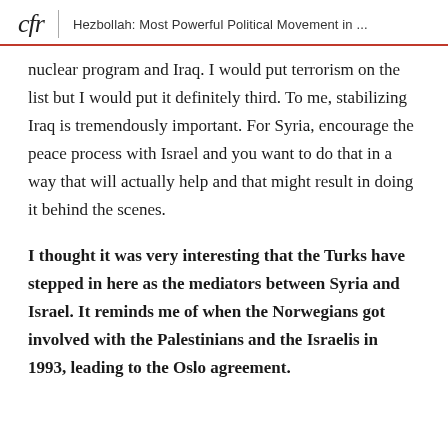cfr | Hezbollah: Most Powerful Political Movement in ...
nuclear program and Iraq. I would put terrorism on the list but I would put it definitely third. To me, stabilizing Iraq is tremendously important. For Syria, encourage the peace process with Israel and you want to do that in a way that will actually help and that might result in doing it behind the scenes.
I thought it was very interesting that the Turks have stepped in here as the mediators between Syria and Israel. It reminds me of when the Norwegians got involved with the Palestinians and the Israelis in 1993, leading to the Oslo agreement.